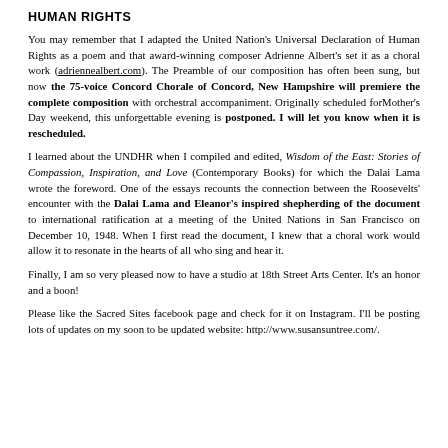HUMAN RIGHTS
You may remember that I adapted the United Nation's Universal Declaration of Human Rights as a poem and that award-winning composer Adrienne Albert's set it as a choral work (adriennealbert.com). The Preamble of our composition has often been sung, but now the 75-voice Concord Chorale of Concord, New Hampshire will premiere the complete composition with orchestral accompaniment. Originally scheduled forMother's Day weekend, this unforgettable evening is postponed. I will let you know when it is rescheduled.
I learned about the UNDHR when I compiled and edited, Wisdom of the East: Stories of Compassion, Inspiration, and Love (Contemporary Books) for which the Dalai Lama wrote the foreword. One of the essays recounts the connection between the Roosevelts' encounter with the Dalai Lama and Eleanor's inspired shepherding of the document to international ratification at a meeting of the United Nations in San Francisco on December 10, 1948. When I first read the document, I knew that a choral work would allow it to resonate in the hearts of all who sing and hear it.
Finally, I am so very pleased now to have a studio at 18th Street Arts Center. It's an honor and a boon!
Please like the Sacred Sites facebook page and check for it on Instagram. I'll be posting lots of updates on my soon to be updated website: http://www.susansuntree.com/.